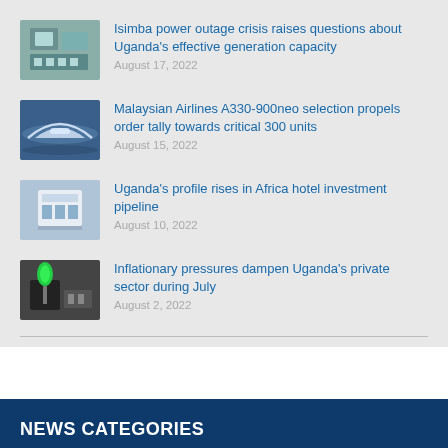Isimba power outage crisis raises questions about Uganda's effective generation capacity — August 17, 2022
Malaysian Airlines A330-900neo selection propels order tally towards critical 300 units — August 15, 2022
Uganda's profile rises in Africa hotel investment pipeline — August 10, 2022
Inflationary pressures dampen Uganda's private sector during July — August 2, 2022
NEWS CATEGORIES
Business